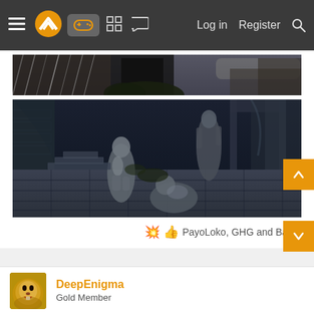Navigation bar with menu, logo, gamepad icon, grid icon, chat icon, Log in, Register, Search
[Figure (screenshot): Dark fantasy game screenshot (top portion) showing a ruined stone structure with metal/corrugated roof against dark sky]
[Figure (screenshot): Dark fantasy game screenshot showing three armored characters in a stone courtyard/dungeon area with stone floor tiles and archways]
PayoLoko, GHG and Bartski
DeepEnigma
Gold Member